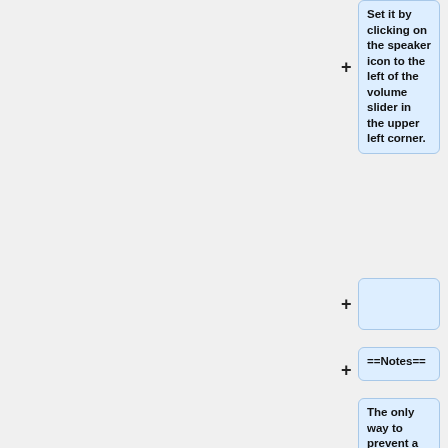Set it by clicking on the speaker icon to the left of the volume slider in the upper left corner.
==Notes==
The only way to prevent a Creative Labs X-Fi based card or Asus Xonar card from resampling all incoming audio is to use ASIO and the driver that came with the card.  With these cards, WASAPI exclusive will not change the master clock of the card.